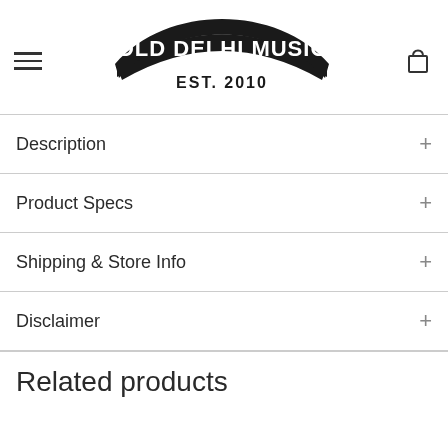[Figure (logo): Old Delhi Music logo with banner shape, white text on black, EST. 2010 below]
Description +
Product Specs +
Shipping & Store Info +
Disclaimer +
Related products